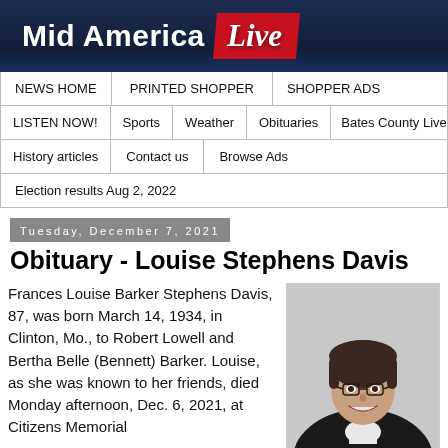Mid America Live
NEWS HOME | PRINTED SHOPPER | SHOPPER ADS | LISTEN NOW! | Sports | Weather | Obituaries | Bates County Live | History articles | Contact us | Browse Ads | Election results Aug 2, 2022
Tuesday, December 7, 2021
Obituary - Louise Stephens Davis
Frances Louise Barker Stephens Davis, 87, was born March 14, 1934, in Clinton, Mo., to Robert Lowell and Bertha Belle (Bennett) Barker. Louise, as she was known to her friends, died Monday afternoon, Dec. 6, 2021, at Citizens Memorial
[Figure (photo): Portrait photo of Louise Stephens Davis, an elderly woman with short dark hair and glasses, wearing a dark jacket, smiling.]